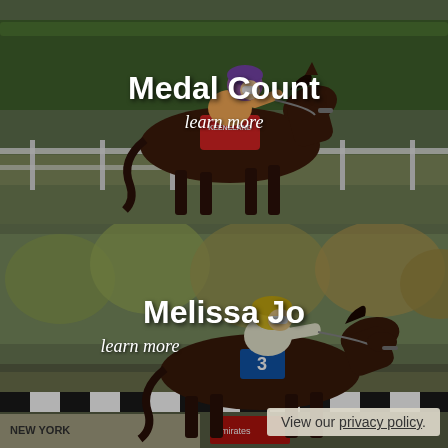[Figure (photo): Horse racing photo showing a dark brown horse with jockey in orange and white silks, blue and white helmet, competing on a racetrack with green hedge background. Horse saddle cloth reads 'KEENELAND'.]
Medal Count
learn more
[Figure (photo): Horse racing photo showing a dark brown horse with jockey in yellow helmet and white/gold silks, racing on a track with autumn trees and signage in the background. Number 3 saddle cloth visible.]
Melissa Jo
learn more
View our privacy policy.